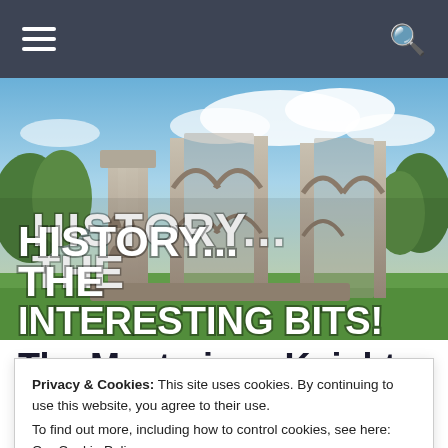Navigation bar with hamburger menu and search icon
[Figure (photo): Photograph of medieval stone abbey ruins against a blue sky with clouds and green trees. Large white bold text overlaid reads: HISTORY... THE INTERESTING BITS!]
The Mysterious Knight
Privacy & Cookies: This site uses cookies. By continuing to use this website, you agree to their use.
To find out more, including how to control cookies, see here: Our Cookie Policy
Close and accept